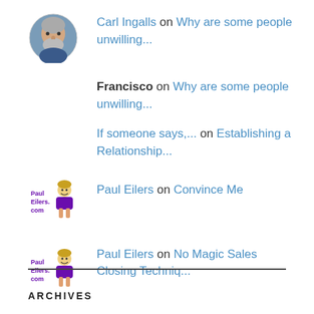Carl Ingalls on Why are some people unwilling...
Francisco on Why are some people unwilling...
If someone says,... on Establishing a Relationship...
Paul Eilers on Convince Me
Paul Eilers on No Magic Sales Closing Techniq...
ARCHIVES